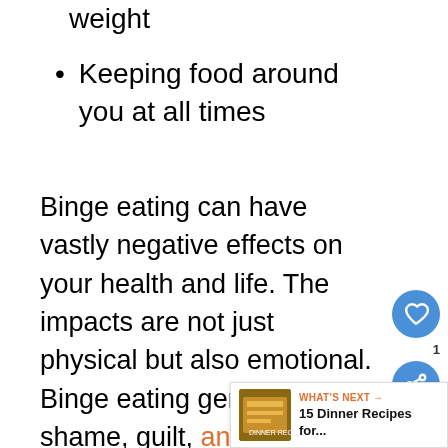weight
Keeping food around you at all times
Binge eating can have vastly negative effects on your health and life. The impacts are not just physical but also emotional. Binge eating generates shame, guilt, anxiety and depression. These are emotional stressors that can cause your blood sugar levels go awry. It also causes physical